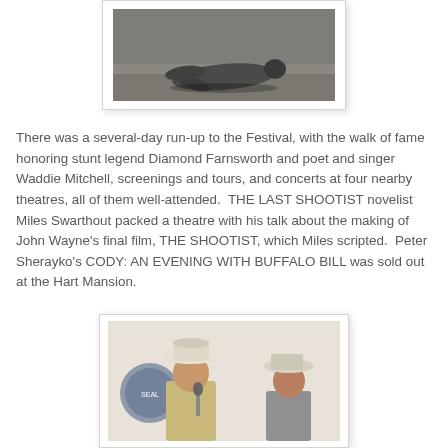[Figure (photo): A person lying face down on the ground, appearing to be a Western stunt or reenactment scene.]
There was a several-day run-up to the Festival, with the walk of fame honoring stunt legend Diamond Farnsworth and poet and singer Waddie Mitchell, screenings and tours, and concerts at four nearby theatres, all of them well-attended.  THE LAST SHOOTIST novelist Miles Swarthout packed a theatre with his talk about the making of John Wayne's final film, THE SHOOTIST, which Miles scripted.  Peter Sherayko's CODY: AN EVENING WITH BUFFALO BILL was sold out at the Hart Mansion.
[Figure (photo): Two men wearing cowboy hats at what appears to be an indoor event, with a logo or seal visible in the background. One man appears to be speaking.]